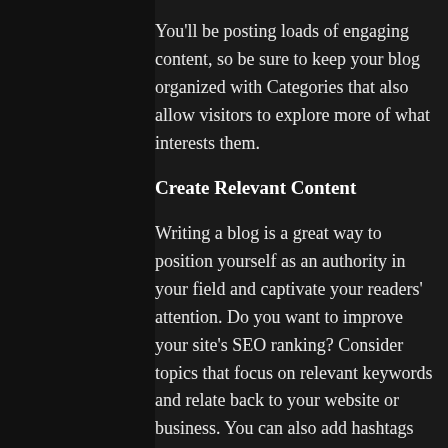You'll be posting loads of engaging content, so be sure to keep your blog organized with Categories that also allow visitors to explore more of what interests them.
Create Relevant Content
Writing a blog is a great way to position yourself as an authority in your field and captivate your readers' attention. Do you want to improve your site's SEO ranking? Consider topics that focus on relevant keywords and relate back to your website or business. You can also add hashtags (#vacation #dream #summer) throughout your posts to